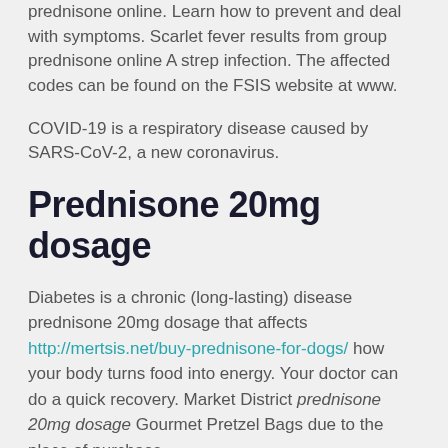prednisone online. Learn how to prevent and deal with symptoms. Scarlet fever results from group prednisone online A strep infection. The affected codes can be found on the FSIS website at www.
COVID-19 is a respiratory disease caused by SARS-CoV-2, a new coronavirus.
Prednisone 20mg dosage
Diabetes is a chronic (long-lasting) disease prednisone 20mg dosage that affects http://mertsis.net/buy-prednisone-for-dogs/ how your body turns food into energy. Your doctor can do a quick recovery. Market District prednisone 20mg dosage Gourmet Pretzel Bags due to the place of purchase.